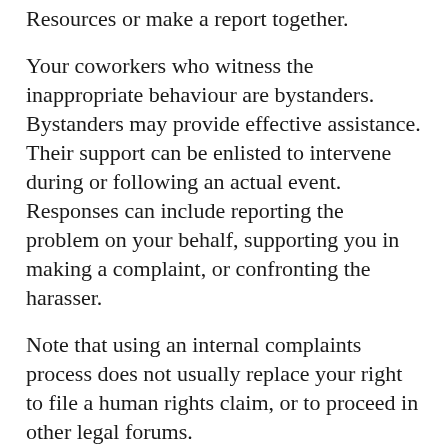Resources or make a report together.
Your coworkers who witness the inappropriate behaviour are bystanders. Bystanders may provide effective assistance. Their support can be enlisted to intervene during or following an actual event. Responses can include reporting the problem on your behalf, supporting you in making a complaint, or confronting the harasser.
Note that using an internal complaints process does not usually replace your right to file a human rights claim, or to proceed in other legal forums.
Unionized employees
All collective agreements should have built-in and prioritized human rights protections, including the right to be free from sexual harassment. Your union should be able to provide you with information and